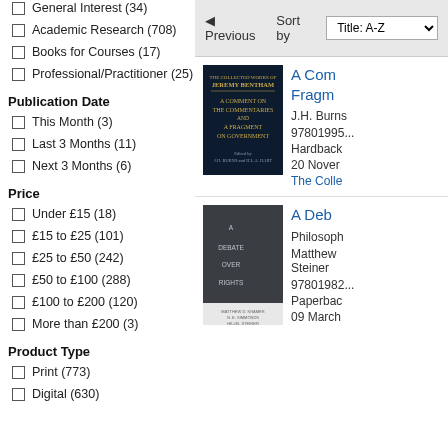General Interest (34)
Academic Research (708)
Books for Courses (17)
Professional/Practitioner (25)
Publication Date
This Month (3)
Last 3 Months (11)
Next 3 Months (6)
Price
Under £15 (18)
£15 to £25 (101)
£25 to £50 (242)
£50 to £100 (288)
£100 to £200 (120)
More than £200 (3)
Product Type
Print (773)
Digital (630)
◀ Previous  Sort by Title: A-Z
[Figure (illustration): Book cover: The Collected Works of Jeremy Bentham - A Comment on the Commentaries and A Fragment on Government, dark navy cover with gold text, Edited by J.H. Burns and H.L.A. Hart]
A Comment on the Commentaries and A Fragment on Government
J.H. Burns
9780199585892
Hardback
20 November
The Collected Works of Jeremy Bentham
[Figure (illustration): Book cover: A Debate Over Rights, dark grey cover with white text listing title words vertically]
A Debate Over Rights
Philosophy
Matthew Kramer and Hillel Steiner
9780198299
Paperback
09 March